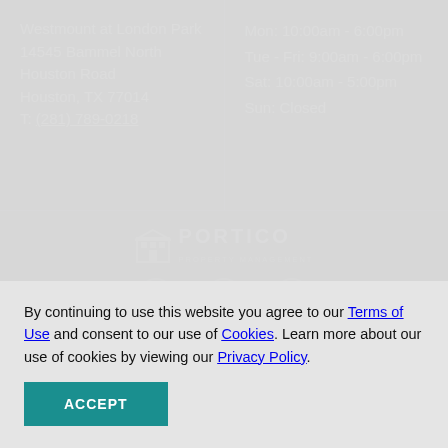Westmount at London Park
14545 Bammel North Houston Road
Houston, TX 77014
T: (281) 789-0218
Mon: 10:00am - 6:00pm
Tue - Fri: 9:00am - 6:00pm
Sat: 10:00am - 5:00pm
Sun: Closed
[Figure (logo): Portico Property Management logo with building icon and social media icons (Facebook, Instagram, RSS), plus compliance icons (W3C, accessibility, pet-friendly, equal housing)]
By continuing to use this website you agree to our Terms of Use and consent to our use of Cookies. Learn more about our use of cookies by viewing our Privacy Policy.
ACCEPT